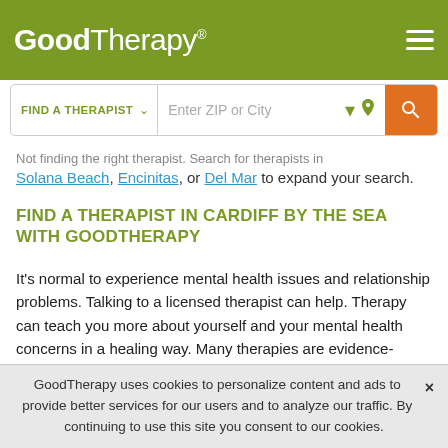GoodTherapy®
Not finding the right therapist. Search for therapists in Solana Beach, Encinitas, or Del Mar to expand your search.
FIND A THERAPIST IN CARDIFF BY THE SEA WITH GOODTHERAPY
It's normal to experience mental health issues and relationship problems. Talking to a licensed therapist can help. Therapy can teach you more about yourself and your mental health concerns in a healing way. Many therapies are evidence-based and have been proven effective.
GoodTherapy uses cookies to personalize content and ads to provide better services for our users and to analyze our traffic. By continuing to use this site you consent to our cookies.